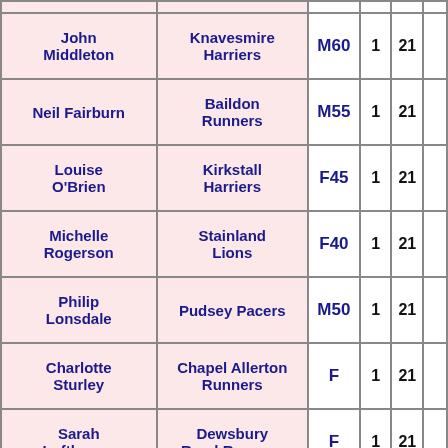| Name | Club | Category | Laps | Miles | Extra |
| --- | --- | --- | --- | --- | --- |
| John Middleton | Knavesmire Harriers | M60 | 1 | 21 |  |
| Neil Fairburn | Baildon Runners | M55 | 1 | 21 |  |
| Louise O'Brien | Kirkstall Harriers | F45 | 1 | 21 |  |
| Michelle Rogerson | Stainland Lions | F40 | 1 | 21 |  |
| Philip Lonsdale | Pudsey Pacers | M50 | 1 | 21 |  |
| Charlotte Sturley | Chapel Allerton Runners | F | 1 | 21 |  |
| Sarah Lofthouse | Dewsbury Road Runners | F | 1 | 21 |  |
| Mark Whitley | Baildon | M | 1 | 21 |  |